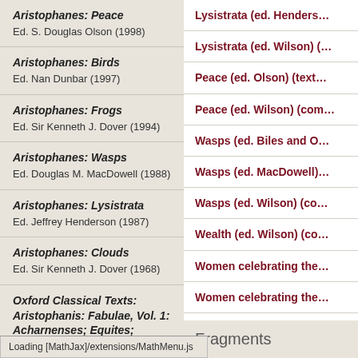Aristophanes: Peace
Ed. S. Douglas Olson (1998)
Aristophanes: Birds
Ed. Nan Dunbar (1997)
Aristophanes: Frogs
Ed. Sir Kenneth J. Dover (1994)
Aristophanes: Wasps
Ed. Douglas M. MacDowell (1988)
Aristophanes: Lysistrata
Ed. Jeffrey Henderson (1987)
Aristophanes: Clouds
Ed. Sir Kenneth J. Dover (1968)
Oxford Classical Texts: Aristophanis: Fabulae, Vol. 1: Acharnenses; Equites; Nubes;
Lysistrata (ed. Henderson)
Lysistrata (ed. Wilson)
Peace (ed. Olson) (text
Peace (ed. Wilson) (com
Wasps (ed. Biles and O
Wasps (ed. MacDowell)
Wasps (ed. Wilson) (co
Wealth (ed. Wilson) (co
Women celebrating the
Women celebrating the
Fragments
Loading [MathJax]/extensions/MathMenu.js